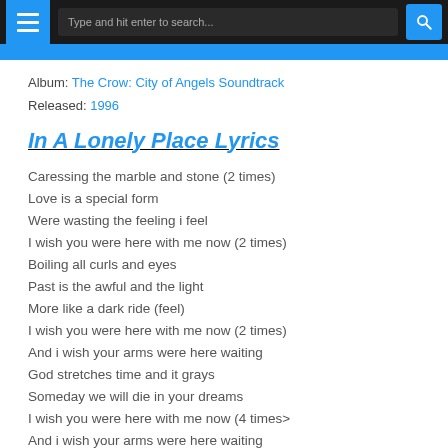Type and hit enter to search...
Album: The Crow: City of Angels Soundtrack
Released: 1996
In A Lonely Place Lyrics
Caressing the marble and stone (2 times)
Love is a special form
Were wasting the feeling i feel
I wish you were here with me now (2 times)
Boiling all curls and eyes
Past is the awful and the light
More like a dark ride (feel)
I wish you were here with me now (2 times)
And i wish your arms were here waiting
God stretches time and it grays
Someday we will die in your dreams
I wish you were here with me now (4 times>
And i wish your arms were here waiting